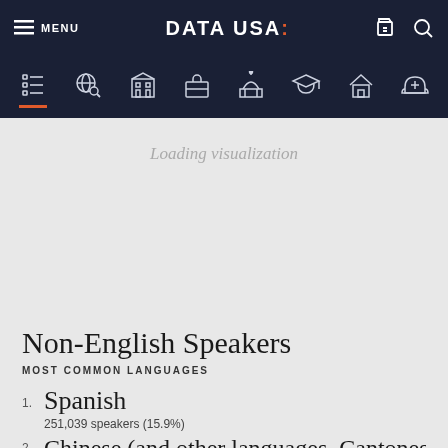MENU | DATA USA: | [cart] [search]
[Figure (screenshot): Data USA website navigation bar with icons: list, globe search, building, briefcase, capitol dome, graduation cap, house, medical cross helmet]
Loading visualization
Non-English Speakers
MOST COMMON LANGUAGES
1. Spanish
251,039 speakers (15.9%)
2. Chinese (and other languages, Cantonese)